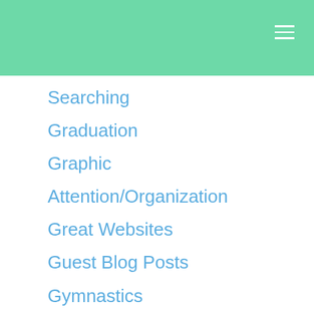Searching
Graduation
Graphic
Attention/Organization
Great Websites
Guest Blog Posts
Gymnastics
Halloween
Hearing Loss
Holiday Wishes
Ideas For Therapy
Sessions
Inexpensive Ideas